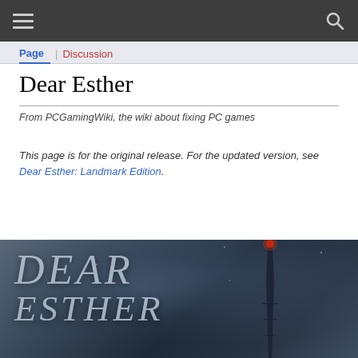PCGamingWiki navigation bar with hamburger menu and search icon
Page | Discussion
Dear Esther
From PCGamingWiki, the wiki about fixing PC games
This page is for the original release. For the updated version, see Dear Esther: Landmark Edition.
[Figure (photo): Game cover/title card for Dear Esther showing the game title text in italic serif font over a dark misty background with a tall tower topped by a red light]